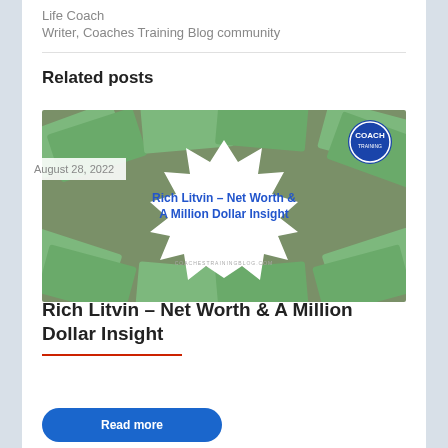Life Coach
Writer, Coaches Training Blog community
Related posts
[Figure (photo): Blog post thumbnail image for 'Rich Litvin – Net Worth & A Million Dollar Insight'. Shows dollar bills arranged around a white starburst shape with the post title in blue bold text and coachestrainingblog.com URL at bottom. A circular blue badge logo is in the top right corner.]
August 28, 2022
Rich Litvin – Net Worth & A Million Dollar Insight